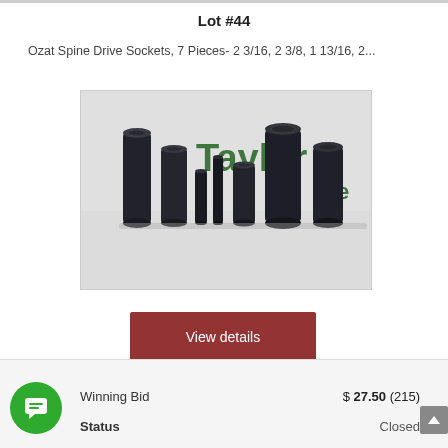Lot #44
Ozat Spine Drive Sockets, 7 Pieces- 2 3/16, 2 3/8, 1 13/16, 2...
[Figure (photo): Photo of 7 black Ozat spine drive sockets of various sizes arranged on a white surface, with a Taylor company backdrop visible in green letters behind them.]
View details
Winning Bid   $ 27.50 (215)
Status   Closed